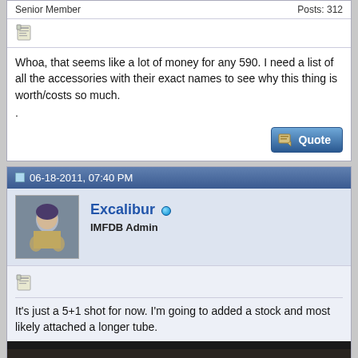Senior Member | Posts: 312
Whoa, that seems like a lot of money for any 590. I need a list of all the accessories with their exact names to see why this thing is worth/costs so much.
06-18-2011, 07:40 PM
Excalibur
IMFDB Admin
It's just a 5+1 shot for now. I'm going to added a stock and most likely attached a longer tube.
[Figure (photo): Photo of a firearm/shotgun with some accessories on a surface, with a NcStar label visible]